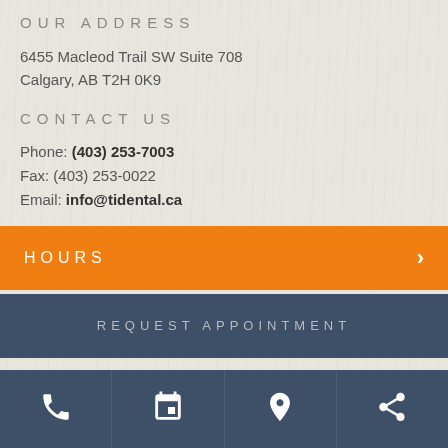OUR ADDRESS
6455 Macleod Trail SW Suite 708
Calgary, AB T2H 0K9
CONTACT US
Phone: (403) 253-7003
Fax: (403) 253-0022
Email: info@tidental.ca
HOURS
REQUEST APPOINTMENT
[Figure (other): Bottom navigation bar with phone, calendar, location pin, and share icons on dark blue background]